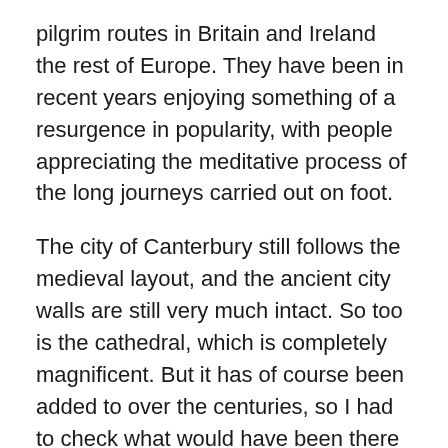pilgrim routes in Britain and Ireland the rest of Europe. They have been in recent years enjoying something of a resurgence in popularity, with people appreciating the meditative process of the long journeys carried out on foot.
The city of Canterbury still follows the medieval layout, and the ancient city walls are still very much intact. So too is the cathedral, which is completely magnificent. But it has of course been added to over the centuries, so I had to check what would have been there when Stanton and Barling visited. There is no longer a shrine to Thomas Becket in the cathedral. It was destroyed under the orders of King Henry VIII in 1538. Today, a single burning candle marks the spot.
J&H: Throughout the course of this series, you paint Stanton and Barling with vastly different brush strokes.